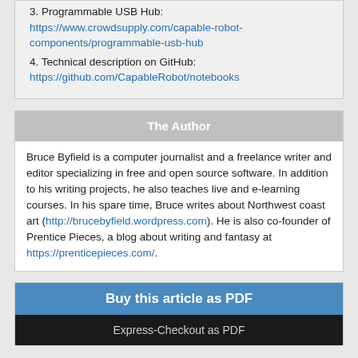3. Programmable USB Hub: https://www.crowdsupply.com/capable-robot-components/programmable-usb-hub
4. Technical description on GitHub: https://github.com/CapableRobot/notebooks
The Author
Bruce Byfield is a computer journalist and a freelance writer and editor specializing in free and open source software. In addition to his writing projects, he also teaches live and e-learning courses. In his spare time, Bruce writes about Northwest coast art (http://brucebyfield.wordpress.com). He is also co-founder of Prentice Pieces, a blog about writing and fantasy at https://prenticepieces.com/.
Buy this article as PDF
Express-Checkout as PDF